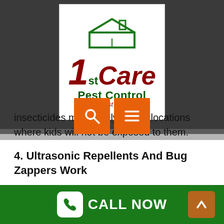[Figure (logo): 1st Care Pest Control logo with house graphic, red and green text, tagline 'total pest solution']
insecticides moderately and in locations where kids will not be exposed to them. Most pest control professionals now utilize environment-friendly products that are effective however do not cause damage to kids or adults.
4. Ultrasonic Repellents And Bug Zappers Work
Actually, there is little evidence that ultrasonic insect repellents work in . Ultrasonic repellents work on the theory that noises beyond the reach of human beings will
CALL NOW